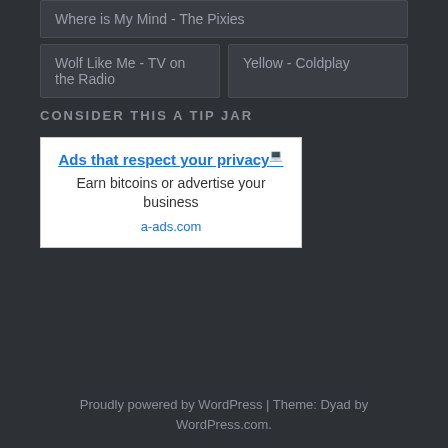Where is My Mind - The Pixies
Wolf Like Me - TV on the Radio
Yellow - Coldplay
CONSIDER THIS A TIP JAR
[Figure (other): Advertisement box: 'Ads that respect your privacy — Earn bitcoins or advertise your business — a-ads.com']
Proudly powered by WordPress | Theme: Dyad by WordPress.com.